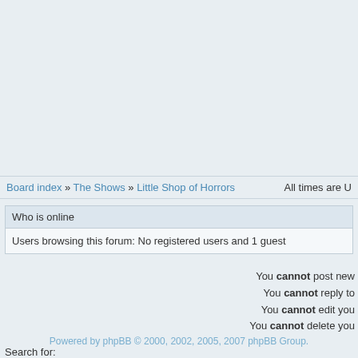Board index » The Shows » Little Shop of Horrors    All times are U
Who is online
Users browsing this forum: No registered users and 1 guest
You cannot post new
You cannot reply to
You cannot edit you
You cannot delete you
Search for:
Jump to:  Little Shop of Horrors
Powered by phpBB © 2000, 2002, 2005, 2007 phpBB Group.